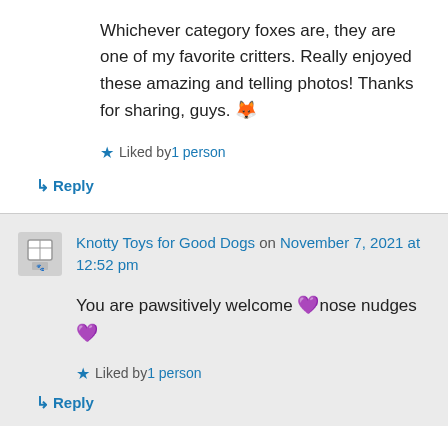Whichever category foxes are, they are one of my favorite critters. Really enjoyed these amazing and telling photos! Thanks for sharing, guys. 🦊
★ Liked by 1 person
↳ Reply
Knotty Toys for Good Dogs on November 7, 2021 at 12:52 pm
You are pawsitively welcome 💜nose nudges💜
★ Liked by 1 person
↳ Reply